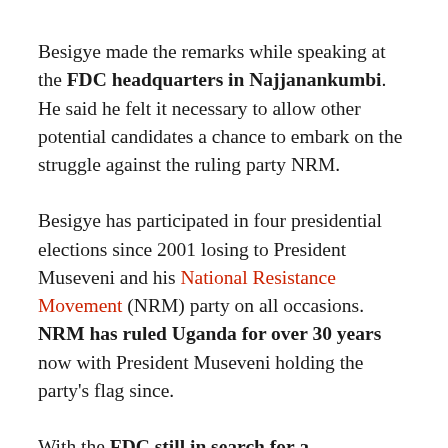Besigye made the remarks while speaking at the FDC headquarters in Najjanankumbi. He said he felt it necessary to allow other potential candidates a chance to embark on the struggle against the ruling party NRM.
Besigye has participated in four presidential elections since 2001 losing to President Museveni and his National Resistance Movement (NRM) party on all occasions. NRM has ruled Uganda for over 30 years now with President Museveni holding the party's flag since.
With the FDC still in search for a presidential flag